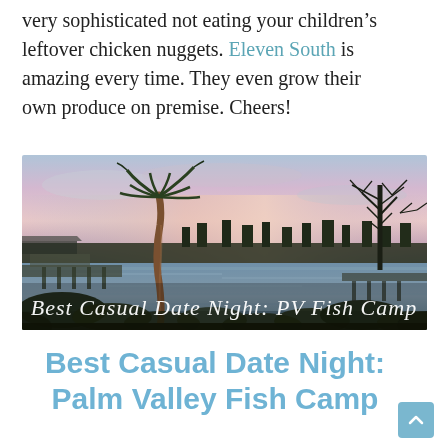very sophisticated not eating your children's leftover chicken nuggets. Eleven South is amazing every time. They even grow their own produce on premise. Cheers!
[Figure (photo): Sunset panorama photo of a waterfront scene with palm trees, a dock/pier, calm water reflecting pink and purple sky. White script text overlay reads: Best Casual Date Night: PV Fish Camp]
Best Casual Date Night: Palm Valley Fish Camp